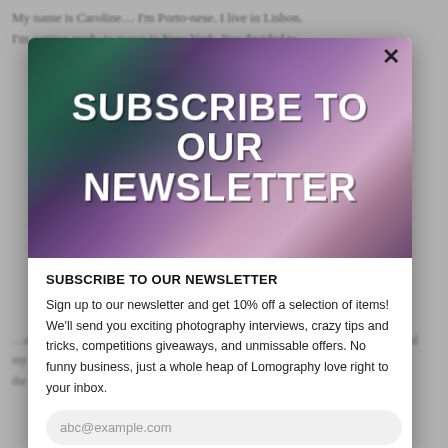My name is Caroline... I'm getting ready to move to New York. I've decided to...
[Figure (photo): Hero image of woman's face partially hidden among purple/lilac flowers on dark green background, with bold white text overlay reading 'SUBSCRIBE TO OUR NEWSLETTER']
SUBSCRIBE TO OUR NEWSLETTER
Sign up to our newsletter and get 10% off a selection of items! We'll send you exciting photography interviews, crazy tips and tricks, competitions giveaways, and unmissable offers. No funny business, just a whole heap of Lomography love right to your inbox.
abc@example.com